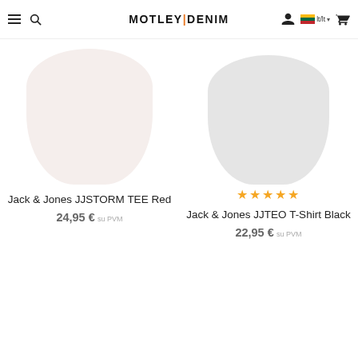MOTLEY DENIM — lt/lt navigation header
[Figure (photo): Product image of Jack & Jones JJSTORM TEE Red — pinkish-white blob/shirt silhouette]
[Figure (photo): Product image of Jack & Jones JJTEO T-Shirt Black — light grey blob/shirt silhouette]
Jack & Jones JJSTORM TEE Red
24,95 € su PVM
★★★★★
Jack & Jones JJTEO T-Shirt Black
22,95 € su PVM